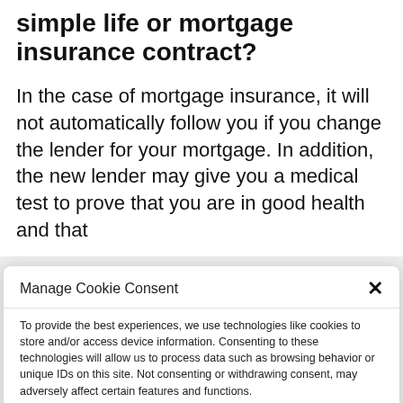simple life or mortgage insurance contract?
In the case of mortgage insurance, it will not automatically follow you if you change the lender for your mortgage. In addition, the new lender may give you a medical test to prove that you are in good health and that
Manage Cookie Consent
To provide the best experiences, we use technologies like cookies to store and/or access device information. Consenting to these technologies will allow us to process data such as browsing behavior or unique IDs on this site. Not consenting or withdrawing consent, may adversely affect certain features and functions.
Accept